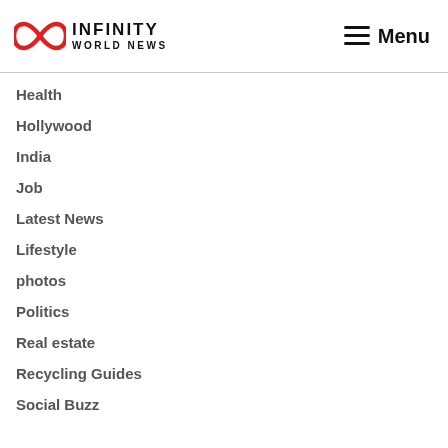[Figure (logo): Infinity World News logo with red infinity symbol and bold black text]
Health
Hollywood
India
Job
Latest News
Lifestyle
photos
Politics
Real estate
Recycling Guides
Social Buzz